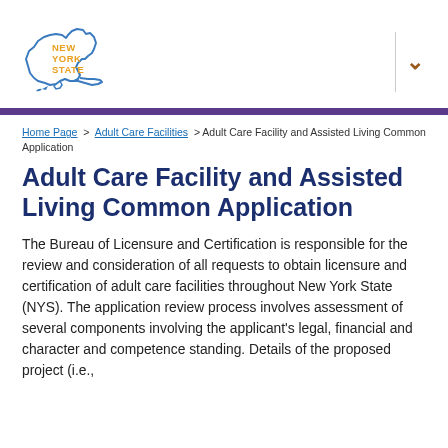[Figure (logo): New York State logo — outline map of NYS in blue with 'NEW YORK STATE' text in orange/gold]
Home Page > Adult Care Facilities > Adult Care Facility and Assisted Living Common Application
Adult Care Facility and Assisted Living Common Application
The Bureau of Licensure and Certification is responsible for the review and consideration of all requests to obtain licensure and certification of adult care facilities throughout New York State (NYS). The application review process involves assessment of several components involving the applicant's legal, financial and character and competence standing. Details of the proposed project (i.e.,